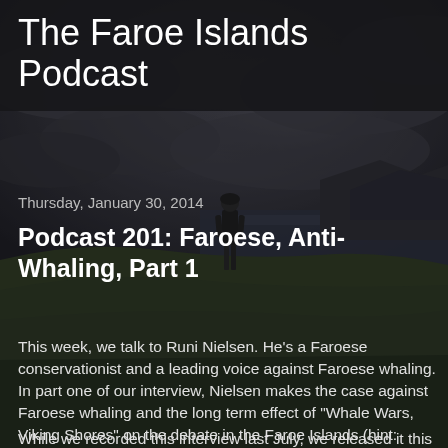[Figure (photo): Dark moody landscape photo of Faroe Islands with dramatic cloudy sky, green hillside, and a lone figure standing in the field]
The Faroe Islands Podcast
Thursday, January 30, 2014
Podcast 201: Faroese, Anti-Whaling, Part 1
This week, we talk to Runi Nielsen. He's a Faroese conservationist and a leading voice against Faroese whaling. In part one of our interview, Nielsen makes the case against Faroese whaling and the long term effect of "Whale Wars, Viking Shores" on the debate in the Faroe Islands (hint: none).
While we recorded this interview last July, we released it this week in response to the old "Denmark is a Big Shame" email